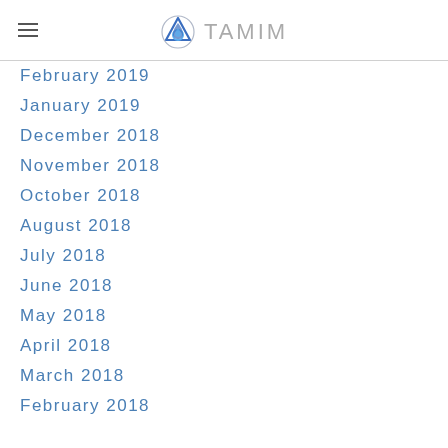TAMIM
February 2019
January 2019
December 2018
November 2018
October 2018
August 2018
July 2018
June 2018
May 2018
April 2018
March 2018
February 2018